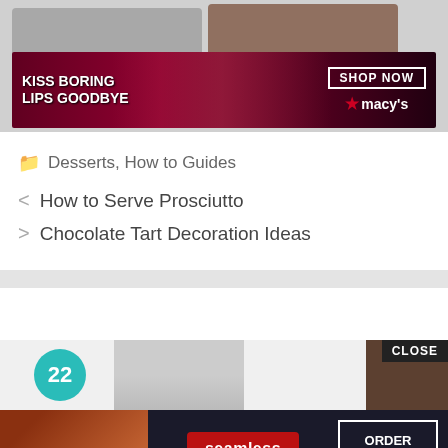[Figure (screenshot): Two thumbnail images side by side: left shows 'Types of Stuffed Croissants for' with gray background, right shows 'French Layered' with brown/tan background. A Macy's lipstick ad overlays the bottom portion with text 'KISS BORING LIPS GOODBYE' and 'SHOP NOW ★ macy's'.]
Desserts, How to Guides
< How to Serve Prosciutto
> Chocolate Tart Decoration Ideas
[Figure (screenshot): Bottom widget showing a teal circle with '22', a person image, a brown block, and a 'CLOSE' button. Seamless food delivery ad below with pizza image, red Seamless logo, and 'ORDER NOW' button.]